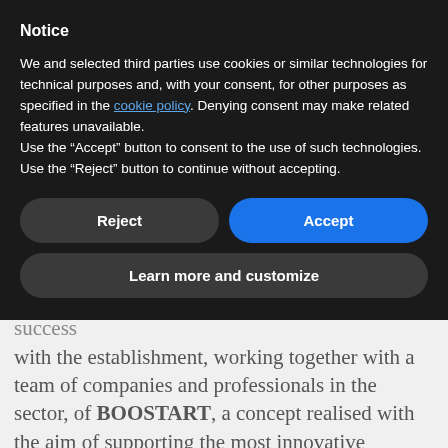Notice
We and selected third parties use cookies or similar technologies for technical purposes and, with your consent, for other purposes as specified in the cookie policy. Denying consent may make related features unavailable.
Use the “Accept” button to consent to the use of such technologies. Use the “Reject” button to continue without accepting.
Reject
Accept
Learn more and customize
The company’s journey in 2018 saw it find success with the establishment, working together with a team of companies and professionals in the sector, of BOOSTART, a concept realised with the aim of supporting the most innovative business projects with integrated services and excellence.